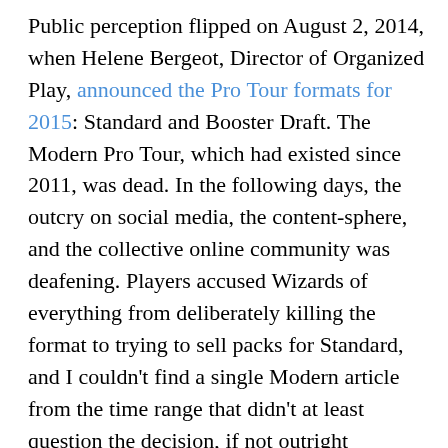Public perception flipped on August 2, 2014, when Helene Bergeot, Director of Organized Play, announced the Pro Tour formats for 2015: Standard and Booster Draft. The Modern Pro Tour, which had existed since 2011, was dead. In the following days, the outcry on social media, the content-sphere, and the collective online community was deafening. Players accused Wizards of everything from deliberately killing the format to trying to sell packs for Standard, and I couldn't find a single Modern article from the time range that didn't at least question the decision, if not outright condemn it. A mere eight days later, Wizards reversed course. They edited their original announcement to reflect changing Pro Tour Fate Reforged from Standard to Modern, and published a press release explaining the reversal. The community rejoiced, Wizards breathed a sigh of relief, and the format went on, momentarily distracted